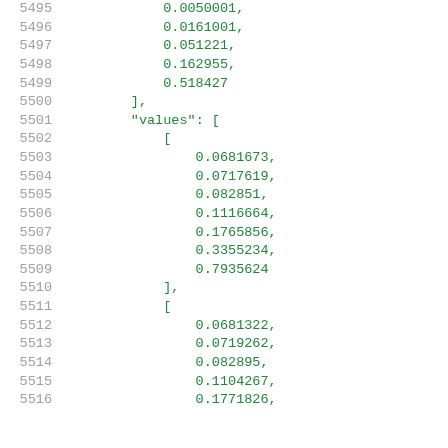Code listing lines 5495-5516 showing numeric array data with 'values' key containing nested arrays of floating point numbers.